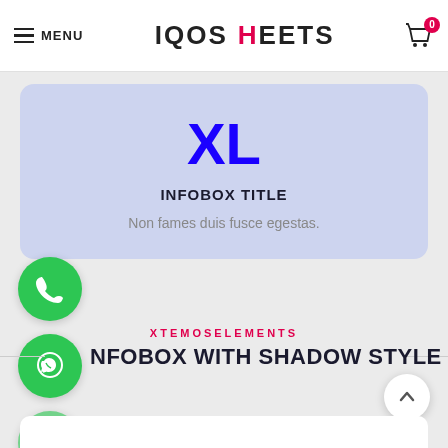MENU | IQOS HEETS | 0
XL
INFOBOX TITLE
Non fames duis fusce egestas.
[Figure (illustration): Green circle button with phone icon]
[Figure (illustration): Green circle button with WhatsApp icon]
[Figure (illustration): Light green circle button with X close icon]
XTEMOSELEMENTS
NFOBOX WITH SHADOW STYLE
[Figure (illustration): White scroll-to-top arrow button]